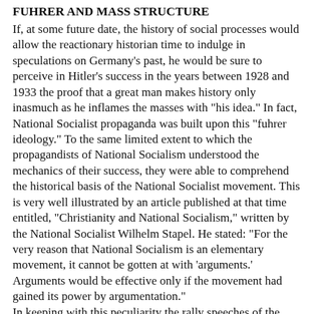FUHRER AND MASS STRUCTURE
If, at some future date, the history of social processes would allow the reactionary historian time to indulge in speculations on Germany's past, he would be sure to perceive in Hitler's success in the years between 1928 and 1933 the proof that a great man makes history only inasmuch as he inflames the masses with "his idea." In fact, National Socialist propaganda was built upon this "fuhrer ideology." To the same limited extent to which the propagandists of National Socialism understood the mechanics of their success, they were able to comprehend the historical basis of the National Socialist movement. This is very well illustrated by an article published at that time entitled, "Christianity and National Socialism," written by the National Socialist Wilhelm Stapel. He stated: "For the very reason that National Socialism is an elementary movement, it cannot be gotten at with 'arguments.' Arguments would be effective only if the movement had gained its power by argumentation."
In keeping with this peculiarity the rally speeches of the National Socialists were very conspicuous for their skillfulness in operating upon the emotions of the